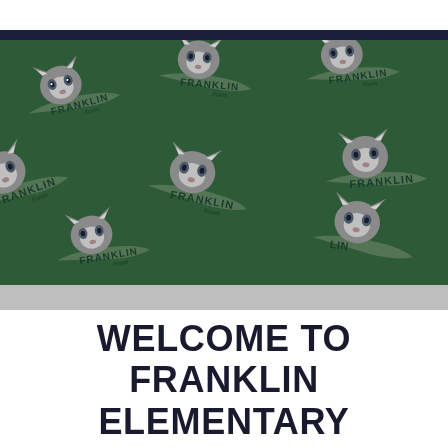[Figure (illustration): Dark green patterned banner with repeating Franklin Foxes mascot logos (gray fox face with ribbon banner reading 'Franklin Foxes') on a dark forest green background, with a navy blue bar at top and gray bar at bottom.]
WELCOME TO FRANKLIN ELEMENTARY SCHOOL!